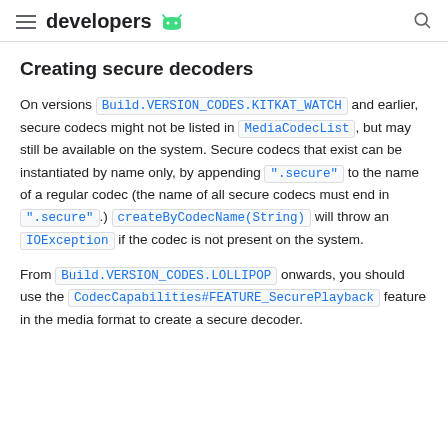developers [Android logo]
Creating secure decoders
On versions Build.VERSION_CODES.KITKAT_WATCH and earlier, secure codecs might not be listed in MediaCodecList, but may still be available on the system. Secure codecs that exist can be instantiated by name only, by appending ".secure" to the name of a regular codec (the name of all secure codecs must end in ".secure".) createByCodecName(String) will throw an IOException if the codec is not present on the system.
From Build.VERSION_CODES.LOLLIPOP onwards, you should use the CodecCapabilities#FEATURE_SecurePlayback feature in the media format to create a secure decoder.